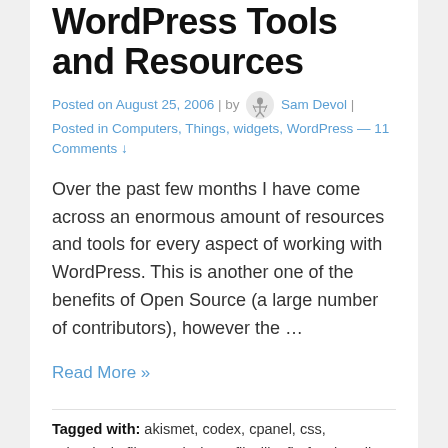WordPress Tools and Resources
Posted on August 25, 2006 | by Sam Devol | Posted in Computers, Things, widgets, WordPress — 11 Comments ↓
Over the past few months I have come across an enormous amount of resources and tools for every aspect of working with WordPress. This is another one of the benefits of Open Source (a large number of contributors), however the …
Read More »
Tagged with: akismet, codex, cpanel, css, cyberduck, file-permissions, filezilla, firefox, install, installation-problems, permissions, spam, Theme, troubleshooting-wordpress, validate,